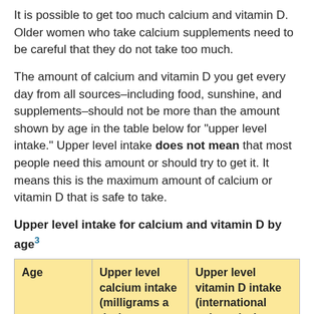It is possible to get too much calcium and vitamin D. Older women who take calcium supplements need to be careful that they do not take too much.
The amount of calcium and vitamin D you get every day from all sources–including food, sunshine, and supplements–should not be more than the amount shown by age in the table below for "upper level intake." Upper level intake does not mean that most people need this amount or should try to get it. It means this is the maximum amount of calcium or vitamin D that is safe to take.
Upper level intake for calcium and vitamin D by age³
| Age | Upper level calcium intake (milligrams a day) | Upper level vitamin D intake (international units a day) |
| --- | --- | --- |